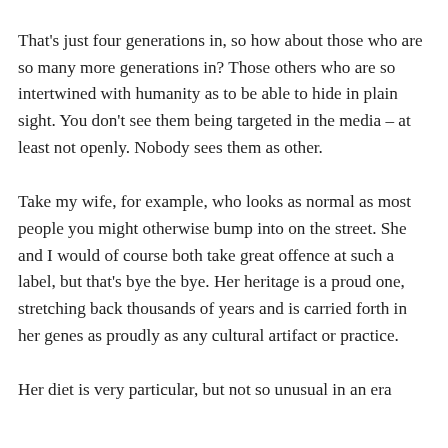That's just four generations in, so how about those who are so many more generations in? Those others who are so intertwined with humanity as to be able to hide in plain sight. You don't see them being targeted in the media – at least not openly. Nobody sees them as other.
Take my wife, for example, who looks as normal as most people you might otherwise bump into on the street. She and I would of course both take great offence at such a label, but that's bye the bye. Her heritage is a proud one, stretching back thousands of years and is carried forth in her genes as proudly as any cultural artifact or practice.
Her diet is very particular, but not so unusual in an era...